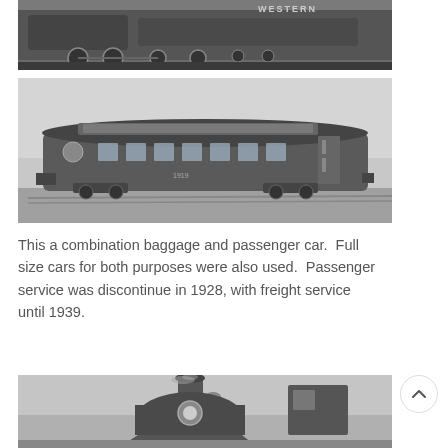[Figure (photo): Black and white photograph of a steam locomotive, cropped showing the side and wheels, with text 'WESTERN' visible on the tender car.]
[Figure (photo): Black and white photograph of a combination baggage and passenger railroad car, viewed from the side, showing windows and doors along the length of the car.]
This a combination baggage and passenger car.  Full size cars for both purposes were also used.  Passenger service was discontinue in 1928, with freight service until 1939.
[Figure (photo): Black and white photograph of a steam locomotive front/boiler view, showing the smoke stack, bell, and headlight.]